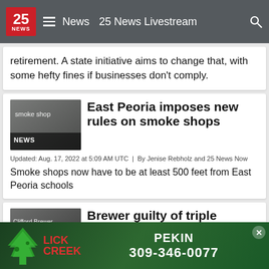25 NEWS | News | 25 News Livestream
retirement. A state initiative aims to change that, with some hefty fines if businesses don't comply.
[Figure (photo): Smoke shop thumbnail with NEWS label]
East Peoria imposes new rules on smoke shops
Updated: Aug. 17, 2022 at 5:09 AM UTC  |  By Jenise Rebholz and 25 News Now
Smoke shops now have to be at least 500 feet from East Peoria schools
[Figure (photo): Clifford Brewer thumbnail with COURTS & label]
Brewer guilty of triple murder
Updated: Aug. 16, 2022 at 10:07 PM UTC  |
By Jon S...
The ju...s wrapp...
[Figure (photo): Lick Creek advertisement banner - PEKIN 309-346-0077]